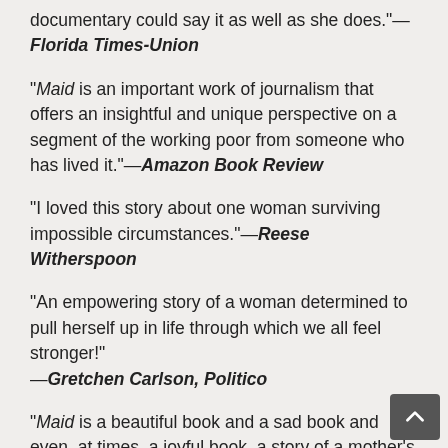documentary could say it as well as she does."—Florida Times-Union
"Maid is an important work of journalism that offers an insightful and unique perspective on a segment of the working poor from someone who has lived it."—Amazon Book Review
"I loved this story about one woman surviving impossible circumstances."—Reese Witherspoon
"An empowering story of a woman determined to pull herself up in life through which we all feel stronger!"—Gretchen Carlson, Politico
"Maid is a beautiful book and a sad book and even, at times, a joyful book–a story of a mother's love for her daughter, but most of all it's an important book about the